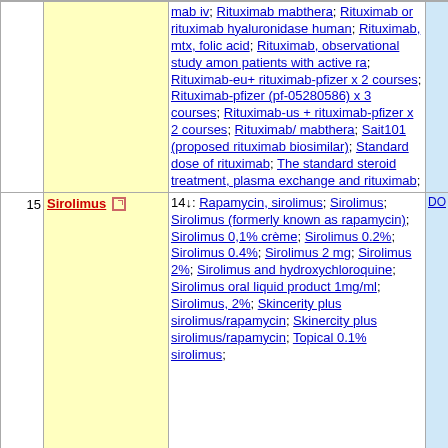| # | Drug | Trials | DO |
| --- | --- | --- | --- |
|  |  | mab iv; Rituximab mabthera; Rituximab or rituximab hyaluronidase human; Rituximab, mtx, folic acid; Rituximab, observational study amon patients with active ra; Rituximab-eu+ rituximab-pfizer x 2 courses; Rituximab-pfizer (pf-05280586) x 3 courses; Rituximab-us + rituximab-pfizer x 2 courses; Rituximab/ mabthera; Sait101 (proposed rituximab biosimilar); Standard dose of rituximab; The standard steroid treatment, plasma exchange and rituximab; |  |
| 15 | Sirolimus | 14↓: Rapamycin, sirolimus; Sirolimus; Sirolimus (formerly known as rapamycin); Sirolimus 0,1% crème; Sirolimus 0.2%; Sirolimus 0.4%; Sirolimus 2 mg; Sirolimus 2%; Sirolimus and hydroxychloroquine; Sirolimus oral liquid product 1mg/ml; Sirolimus, 2%; Skincerity plus sirolimus/rapamycin; Skinercity plus sirolimus/rapamycin; Topical 0.1% sirolimus; | DO |